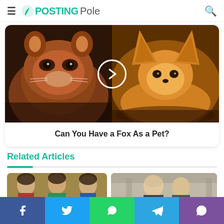PostingPole
[Figure (photo): Slideshow card with two animal photos side by side: left side shows a red panda close-up, right side shows a fennec fox lying down. A circular play/next button is overlaid in the center.]
Can You Have a Fox As a Pet?
Related Articles
[Figure (photo): Thumbnail image showing three Bollywood actors (two men and a woman).]
[Figure (photo): Thumbnail image showing an older man in a formal setting.]
Facebook | Twitter | WhatsApp | Telegram | Viber social share buttons